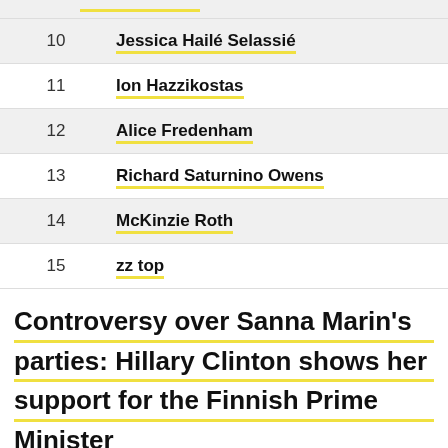| # | Name |
| --- | --- |
| 10 | Jessica Hailé Selassié |
| 11 | Ion Hazzikostas |
| 12 | Alice Fredenham |
| 13 | Richard Saturnino Owens |
| 14 | McKinzie Roth |
| 15 | zz top |
Controversy over Sanna Marin's parties: Hillary Clinton shows her support for the Finnish Prime Minister
2022-08-29 13:40:33